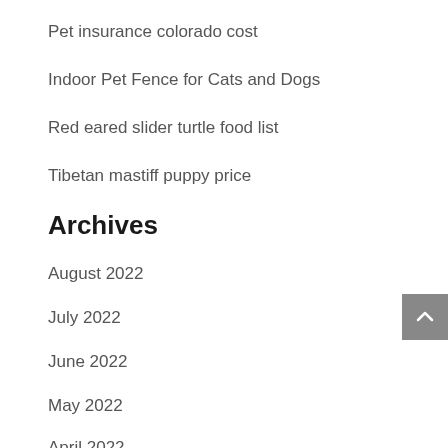Pet insurance colorado cost
Indoor Pet Fence for Cats and Dogs
Red eared slider turtle food list
Tibetan mastiff puppy price
Archives
August 2022
July 2022
June 2022
May 2022
April 2022
March 2022